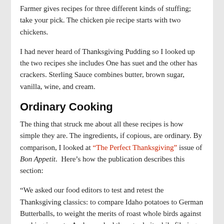Farmer gives recipes for three different kinds of stuffing; take your pick. The chicken pie recipe starts with two chickens.
I had never heard of Thanksgiving Pudding so I looked up the two recipes she includes One has suet and the other has crackers. Sterling Sauce combines butter, brown sugar, vanilla, wine, and cream.
Ordinary Cooking
The thing that struck me about all these recipes is how simple they are. The ingredients, if copious, are ordinary. By comparison, I looked at “The Perfect Thanksgiving” issue of Bon Appetit.  Here’s how the publication describes this section:
“We asked our food editors to test and retest the Thanksgiving classics: to compare Idaho potatoes to German Butterballs, to weight the merits of roast whole birds against cooking in parts. And we asked them to do it while filming Making Perfect, a six-part video series…